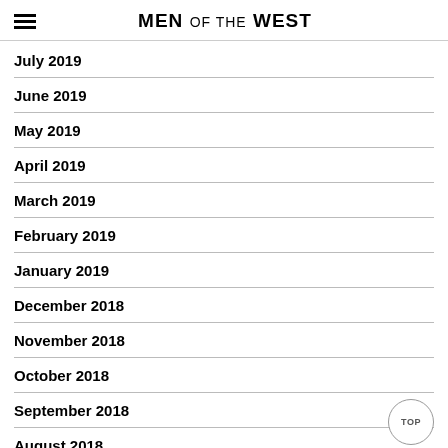MEN OF THE WEST
July 2019
June 2019
May 2019
April 2019
March 2019
February 2019
January 2019
December 2018
November 2018
October 2018
September 2018
August 2018